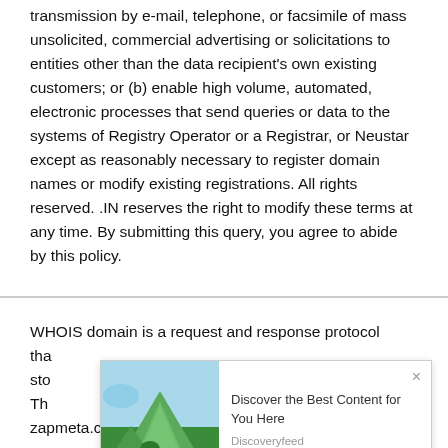transmission by e-mail, telephone, or facsimile of mass unsolicited, commercial advertising or solicitations to entities other than the data recipient's own existing customers; or (b) enable high volume, automated, electronic processes that send queries or data to the systems of Registry Operator or a Registrar, or Neustar except as reasonably necessary to register domain names or modify existing registrations. All rights reserved. .IN reserves the right to modify these terms at any time. By submitting this query, you agree to abide by this policy.
WHOIS domain is a request and response protocol tha... sto... Th... zapmeta.co.in
[Figure (infographic): Advertisement overlay with mountain landscape photo on left and text 'Discover the Best Content for You Here' with 'Discoveryfeed' subtitle. Close button (x) in top right. PurpleAds logo in bottom right. Advertiser: PurpleAds.]